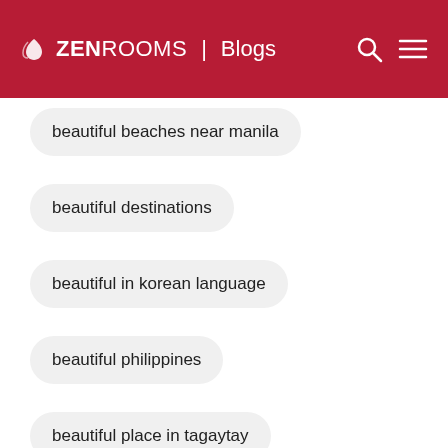ZEN ROOMS | Blogs
beautiful beaches near manila
beautiful destinations
beautiful in korean language
beautiful philippines
beautiful place in tagaytay
beautiful places in albay
beautiful places in baguio
beautiful places in bataan
beautiful places in bicol